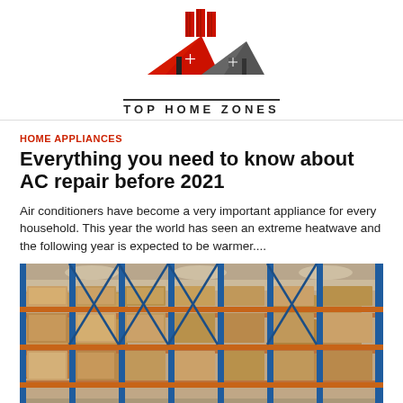[Figure (logo): Top Home Zones logo with red and grey house roof shapes and red building blocks at top, with text TOP HOME ZONES below]
HOME APPLIANCES
Everything you need to know about AC repair before 2021
Air conditioners have become a very important appliance for every household. This year the world has seen an extreme heatwave and the following year is expected to be warmer....
[Figure (photo): Warehouse interior with tall blue metal shelving racks filled with cardboard boxes, industrial storage facility with orange cross-beams]